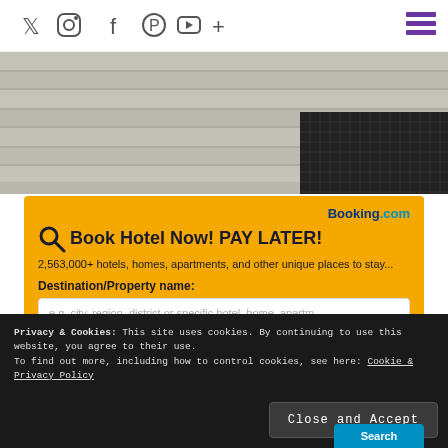Social media icons: Twitter, Instagram, Facebook, Pinterest, YouTube, Plus | Hamburger menu
[Figure (photo): Photo of a grey wooden floor with a black wicker/grid-pattern coffee table in the corner]
[Figure (screenshot): Booking.com advertisement widget on yellow background. Title: Book Hotel Now! PAY LATER! Subtitle: 2,563,000+ hotels, homes, apartments, and other unique places to stay... Input field labeled Destination/Property name with placeholder text: e.g. city, region, district or specific hotel, home, apartm...]
Privacy & Cookies: This site uses cookies. By continuing to use this website, you agree to their use. To find out more, including how to control cookies, see here: Cookie & Privacy Policy
Close and Accept